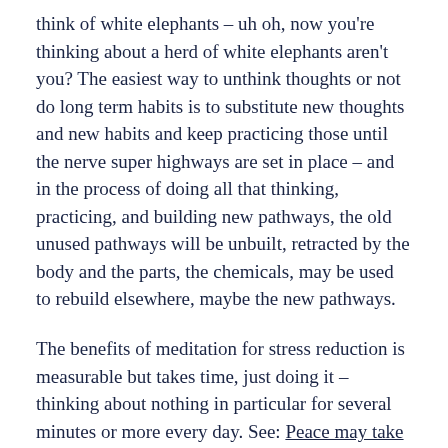think of white elephants – uh oh, now you're thinking about a herd of white elephants aren't you? The easiest way to unthink thoughts or not do long term habits is to substitute new thoughts and new habits and keep practicing those until the nerve super highways are set in place – and in the process of doing all that thinking, practicing, and building new pathways, the old unused pathways will be unbuilt, retracted by the body and the parts, the chemicals, may be used to rebuild elsewhere, maybe the new pathways.
The benefits of meditation for stress reduction is measurable but takes time, just doing it – thinking about nothing in particular for several minutes or more every day. See: Peace may take practice, for some tips from Jon Kabat-Zinn about mindfulness – meditation can be simply going for a walk or doing dishes with a peaceful relaxed mindset. Our bodies are made to move and be